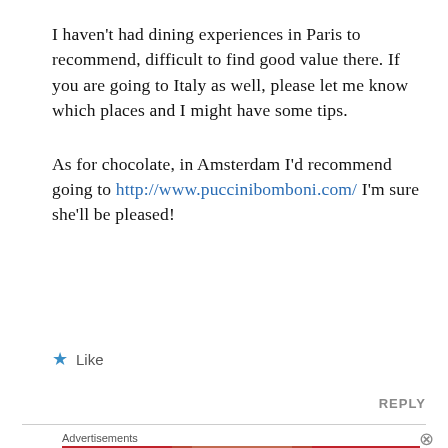I haven't had dining experiences in Paris to recommend, difficult to find good value there. If you are going to Italy as well, please let me know which places and I might have some tips.
As for chocolate, in Amsterdam I'd recommend going to http://www.puccinibomboni.com/ I'm sure she'll be pleased!
★ Like
REPLY
Advertisements
[Figure (illustration): Red advertisement banner for Macy's lipstick with text 'KISS BORING LIPS GOODBYE', 'SHOP NOW' button, Macy's star logo, and a woman's face with red lips]